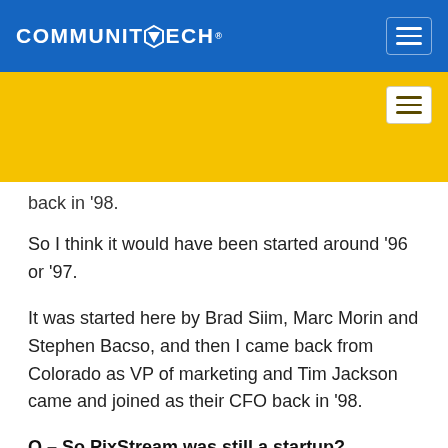COMMUNITECH
back in '98.
So I think it would have been started around '96 or '97.
It was started here by Brad Siim, Marc Morin and Stephen Bacso, and then I came back from Colorado as VP of marketing and Tim Jackson came and joined as their CFO back in '98.
Q – So PixStream was still a startup?
A – For sure; there's no description of